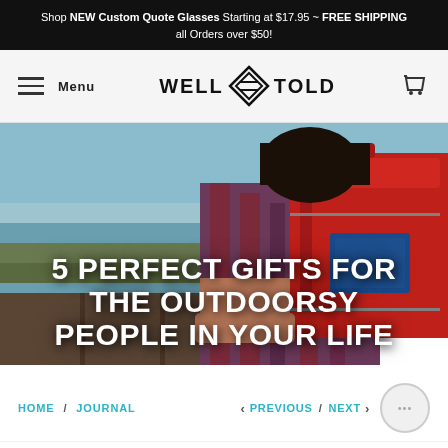Shop NEW Custom Quote Glasses Starting at $17.95 ~ FREE SHIPPING all Orders over $50!
[Figure (logo): Well Told logo with diamond mountain icon in navigation bar with hamburger menu and cart icon]
[Figure (photo): Person with red backpack sitting outdoors near water with marshland in background, viewed from behind wearing plaid shirt]
5 PERFECT GIFTS FOR THE OUTDOORSY PEOPLE IN YOUR LIFE
HOME / JOURNAL
< PREVIOUS / NEXT >